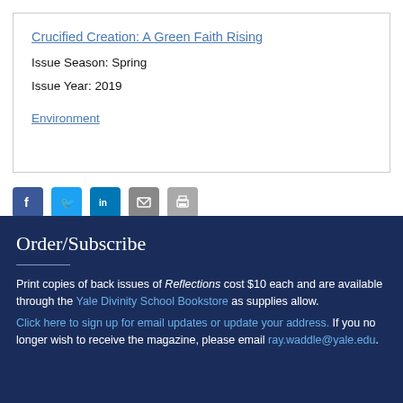Crucified Creation: A Green Faith Rising
Issue Season: Spring
Issue Year: 2019
Environment
[Figure (infographic): Social media sharing icons: Facebook, Twitter, LinkedIn, Email, Print]
Order/Subscribe
Print copies of back issues of Reflections cost $10 each and are available through the Yale Divinity School Bookstore as supplies allow. Click here to sign up for email updates or update your address. If you no longer wish to receive the magazine, please email ray.waddle@yale.edu.